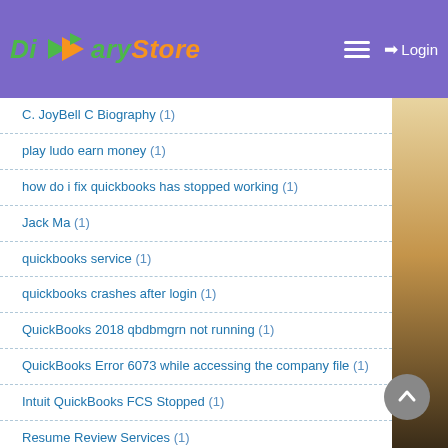Diary Store — Login
C. JoyBell C Biography (1)
play ludo earn money (1)
how do i fix quickbooks has stopped working (1)
Jack Ma (1)
quickbooks service (1)
quickbooks crashes after login (1)
QuickBooks 2018 qbdbmgrn not running (1)
QuickBooks Error 6073 while accessing the company file (1)
Intuit QuickBooks FCS Stopped (1)
Resume Review Services (1)
certified quickbooks proadvisor (1)
Error 1311 in QuickBooks (1)